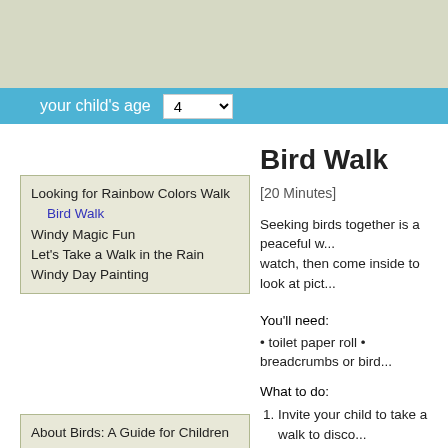your child's age  4
Looking for Rainbow Colors Walk
Bird Walk
Windy Magic Fun
Let's Take a Walk in the Rain
Windy Day Painting
About Birds: A Guide for Children
Make Way for Ducklings
Bird Walk
[20 Minutes]
Seeking birds together is a peaceful w... watch, then come inside to look at pict...
You'll need:
• toilet paper roll • breadcrumbs or bird...
What to do:
Invite your child to take a walk to disco... where you think birds may gather. Enc... Wait quietly.
Show her how to look through the card...
Talk about the bird's size, color, or othe...
Listen for bird songs and calls. If you w... family.
At a later time, look through bird books...